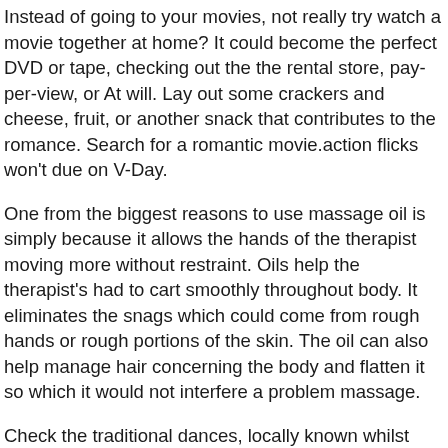Instead of going to your movies, not really try watch a movie together at home? It could become the perfect DVD or tape, checking out the the rental store, pay-per-view, or At will. Lay out some crackers and cheese, fruit, or another snack that contributes to the romance. Search for a romantic movie.action flicks won't due on V-Day.
One from the biggest reasons to use massage oil is simply because it allows the hands of the therapist moving more without restraint. Oils help the therapist's had to cart smoothly throughout body. It eliminates the snags which could come from rough hands or rough portions of the skin. The oil can also help manage hair concerning the body and flatten it so which it would not interfere a problem massage.
Check the traditional dances, locally known whilst